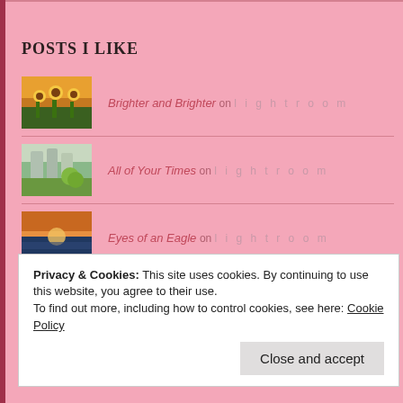POSTS I LIKE
Brighter and Brighter on l i g h t room
All of Your Times on l i g h t room
Eyes of an Eagle on l i g h t room
On the Way on l i g h t room
Privacy & Cookies: This site uses cookies. By continuing to use this website, you agree to their use.
To find out more, including how to control cookies, see here: Cookie Policy